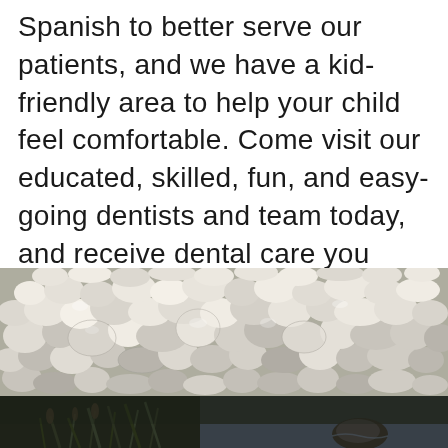Spanish to better serve our patients, and we have a kid-friendly area to help your child feel comfortable. Come visit our educated, skilled, fun, and easy-going dentists and team today, and receive dental care you enjoy!
[Figure (photo): A wide band of smooth grey and white pebbles/stones, densely packed together]
[Figure (photo): A dark outdoor scene with grass/reeds at water's edge and a rock in still water]